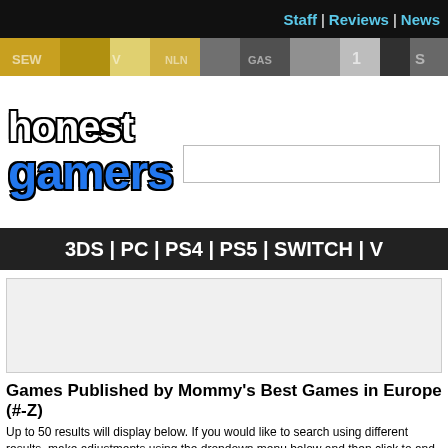Staff | Reviews | News
[Figure (photo): Banner strip of game box spines]
[Figure (logo): Honest Gamers logo with 'honest' in white and 'gamers' in blue block letters]
3DS | PC | PS4 | PS5 | SWITCH | V
[Figure (other): Advertisement placeholder box]
Games Published by Mommy's Best Games in Europe (#-Z)
Up to 50 results will display below. If you would like to search using different results, make adjustments using the dropdown menu below and then click to and click the desired letter on the alphabet strip.
All Games   Systems   Genres   EU   #-Z